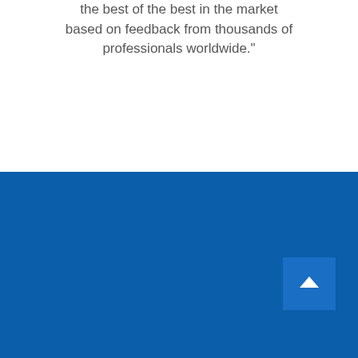the best of the best in the market based on feedback from thousands of professionals worldwide."
[Figure (other): Blue footer banner with a scroll-to-top button (chevron/arrow up icon) in the bottom right corner]